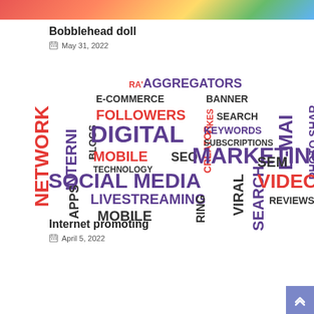[Figure (photo): Colorful bobblehead dolls at the top of the page]
Bobblehead doll
May 31, 2022
[Figure (infographic): Digital marketing word cloud with terms like NETWORK, DIGITAL, MARKETING, SOCIAL MEDIA, VIDEOS, LIVESTREAMING, MOBILE, AGGREGATORS, E-MAIL, SEO, SEM, FOLLOWERS, KEYWORDS, SUBSCRIPTIONS, BLOGS, BANNER, SEARCH, VIRAL, REVIEWS, APPS, TECHNOLOGY, MOBILE, RING, CREATOR, LIKES, E-COMMERCE, PHOTO SHARING]
Internet promoting
April 5, 2022